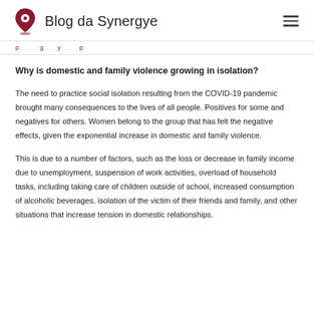Blog da Synergye
p ... g ... y ...
Why is domestic and family violence growing in isolation?
The need to practice social isolation resulting from the COVID-19 pandemic brought many consequences to the lives of all people. Positives for some and negatives for others. Women belong to the group that has felt the negative effects, given the exponential increase in domestic and family violence.
This is due to a number of factors, such as the loss or decrease in family income due to unemployment, suspension of work activities, overload of household tasks, including taking care of children outside of school, increased consumption of alcoholic beverages, isolation of the victim of their friends and family, and other situations that increase tension in domestic relationships.